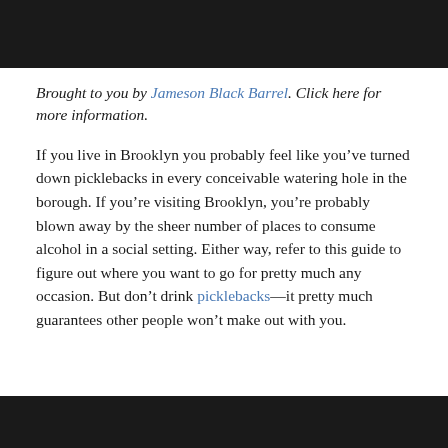[Figure (photo): Dark photograph at the top of the page, partially visible]
Brought to you by Jameson Black Barrel. Click here for more information.
If you live in Brooklyn you probably feel like you’ve turned down picklebacks in every conceivable watering hole in the borough. If you’re visiting Brooklyn, you’re probably blown away by the sheer number of places to consume alcohol in a social setting. Either way, refer to this guide to figure out where you want to go for pretty much any occasion. But don’t drink picklebacks—it pretty much guarantees other people won’t make out with you.
[Figure (photo): Dark photograph at the bottom of the page, partially visible]